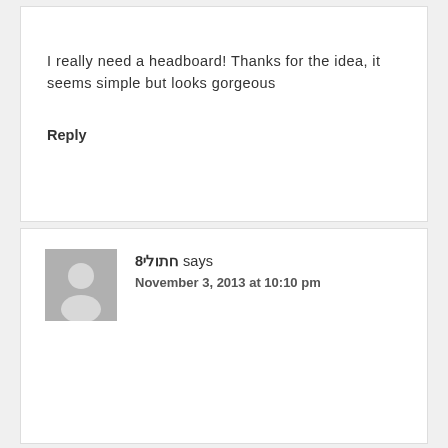I really need a headboard! Thanks for the idea, it seems simple but looks gorgeous
Reply
חתולי8 says
November 3, 2013 at 10:10 pm